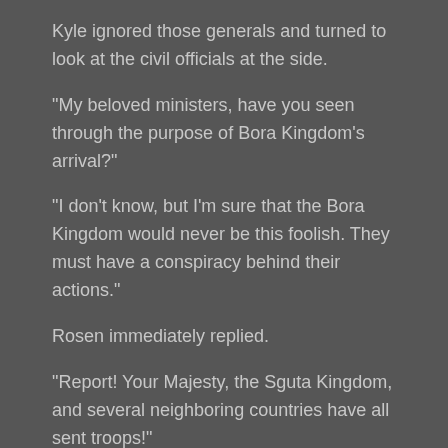Kyle ignored those generals and turned to look at the civil officials at the side.
"My beloved ministers, have you seen through the purpose of Bora Kingdom's arrival?"
"I don't know, but I'm sure that the Bora Kingdom would never be this foolish. They must have a conspiracy behind their actions."
Rosen immediately replied.
"Report! Your Majesty, the Sguta Kingdom, and several neighboring countries have all sent troops!"
Outside the hall, a messenger quickly ran in.
"What?!"
Kyle stood up from his throne, and his expression suddenly changed.